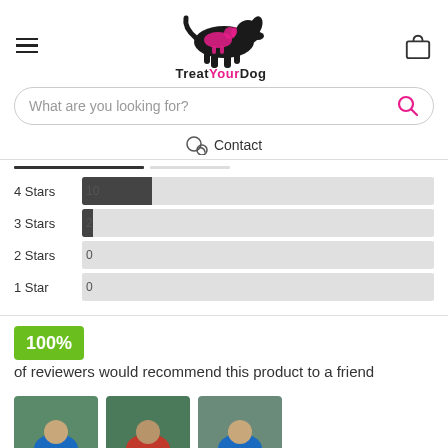[Figure (logo): TreatYourDog website header with hamburger menu, dog logo (black dog silhouette with pink smaller dog), text 'TreatYourDog', and shopping bag icon]
What are you looking for?
Contact
[Figure (bar-chart): Star ratings]
100% of reviewers would recommend this product to a friend
[Figure (photo): Three thumbnail photos of dogs wearing colorful waterproof coats/jackets — first dog in blue coat, second dog in red coat, third dog in blue coat]